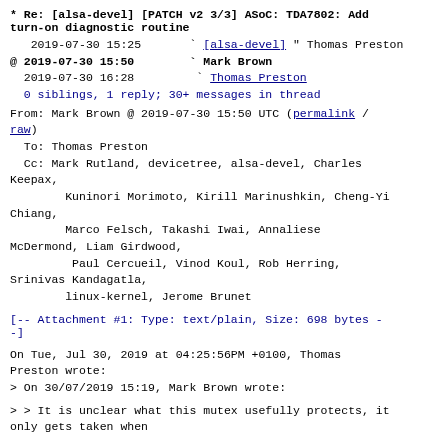* Re: [alsa-devel] [PATCH v2 3/3] ASoC: TDA7802: Add turn-on diagnostic routine
2019-07-30 15:25  ` [alsa-devel] " Thomas Preston
@ 2019-07-30 15:50    ` Mark Brown
  2019-07-30 16:28    ` Thomas Preston
  0 siblings, 1 reply; 30+ messages in thread
From: Mark Brown @ 2019-07-30 15:50 UTC (permalink / raw)
  To: Thomas Preston
  Cc: Mark Rutland, devicetree, alsa-devel, Charles Keepax,
        Kuninori Morimoto, Kirill Marinushkin, Cheng-Yi Chiang,
        Marco Felsch, Takashi Iwai, Annaliese McDermond, Liam Girdwood,
        Paul Cercueil, Vinod Koul, Rob Herring, Srinivas Kandagatla,
        linux-kernel, Jerome Brunet
[-- Attachment #1: Type: text/plain, Size: 698 bytes --]
On Tue, Jul 30, 2019 at 04:25:56PM +0100, Thomas Preston wrote:
> On 30/07/2019 15:19, Mark Brown wrote:
> > It is unclear what this mutex usefully protects, it only gets taken when